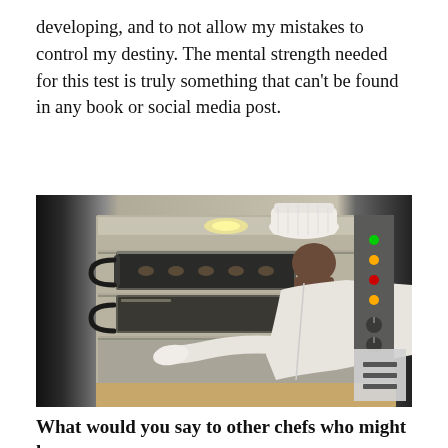developing, and to not allow my mistakes to control my destiny. The mental strength needed for this test is truly something that can't be found in any book or social media post.
[Figure (photo): A chef wearing a white chef's hat and white uniform leans into a large commercial deck oven, checking or placing items inside. The oven has multiple stainless steel shelves. A control panel with indicator lights is visible on the right side.]
What would you say to other chefs who might learn